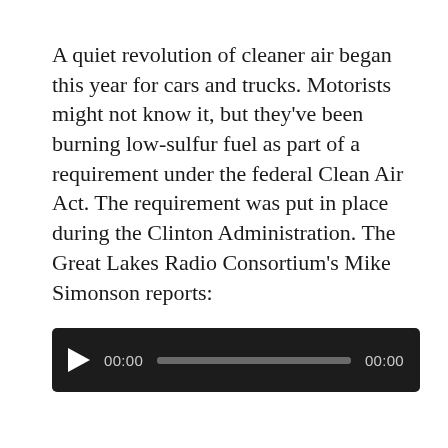A quiet revolution of cleaner air began this year for cars and trucks. Motorists might not know it, but they've been burning low-sulfur fuel as part of a requirement under the federal Clean Air Act. The requirement was put in place during the Clinton Administration. The Great Lakes Radio Consortium's Mike Simonson reports:
[Figure (other): Audio player with play button, current time 00:00, progress bar, and total time 00:00 on a dark background.]